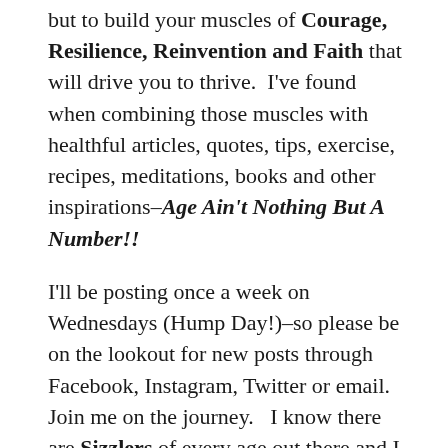but to build your muscles of Courage, Resilience, Reinvention and Faith that will drive you to thrive.  I've found when combining those muscles with healthful articles, quotes, tips, exercise, recipes, meditations, books and other inspirations–Age Ain't Nothing But A Number!!
I'll be posting once a week on Wednesdays (Hump Day!)–so please be on the lookout for new posts through Facebook, Instagram, Twitter or email.  Join me on the journey.   I know there are Sizzlers of every age out there and I want to hear from you!